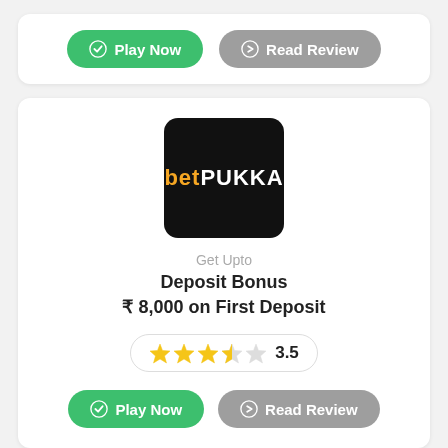[Figure (other): Top card with Play Now (green button) and Read Review (gray button)]
[Figure (other): BetPukka casino card with logo, Get Upto Deposit Bonus ₹8,000 on First Deposit, 3.5 star rating, Play Now and Read Review buttons]
[Figure (other): Bottom partial card with scroll-to-top circle button (green arrow up)]